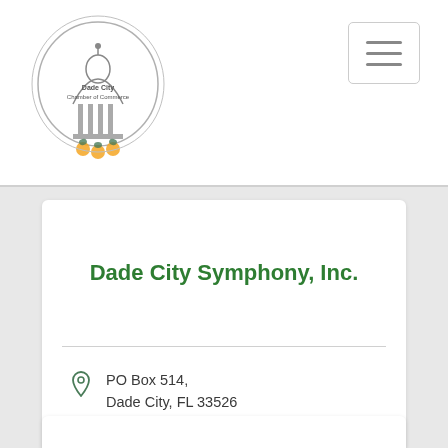Dade City Chamber of Commerce
Dade City Symphony, Inc.
PO Box 514, Dade City, FL 33526
(352) 206-2553